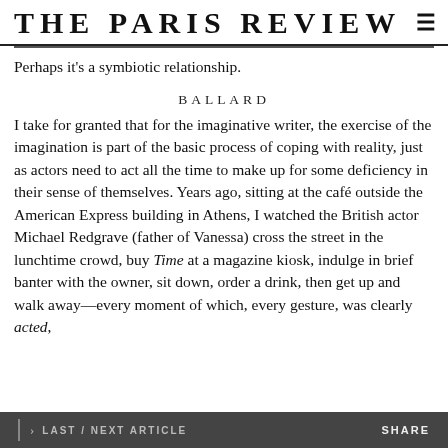THE PARIS REVIEW
Perhaps it’s a symbiotic relationship.
BALLARD
I take for granted that for the imaginative writer, the exercise of the imagination is part of the basic process of coping with reality, just as actors need to act all the time to make up for some deficiency in their sense of themselves. Years ago, sitting at the café outside the American Express building in Athens, I watched the British actor Michael Redgrave (father of Vanessa) cross the street in the lunchtime crowd, buy Time at a magazine kiosk, indulge in brief banter with the owner, sit down, order a drink, then get up and walk away—every moment of which, every gesture, was clearly acted,
LAST / NEXT ARTICLE   SHARE